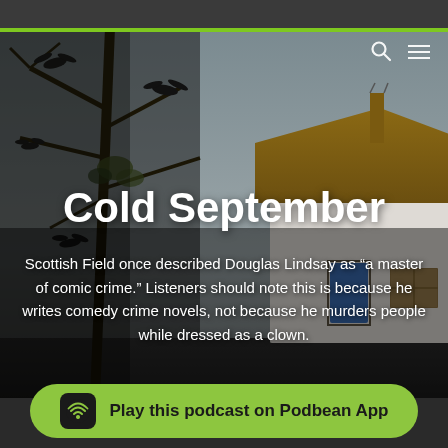[Figure (photo): Background photo of a miniature model house with a bare tree branch with bat silhouettes, overcast sky, taken against a dark moody background. White cottage-style building with blue door and small windows, golden/straw-colored roof.]
Cold September
Scottish Field once described Douglas Lindsay as “a master of comic crime.” Listeners should note this is because he writes comedy crime novels, not because he murders people while dressed as a clown.
Play this podcast on Podbean App